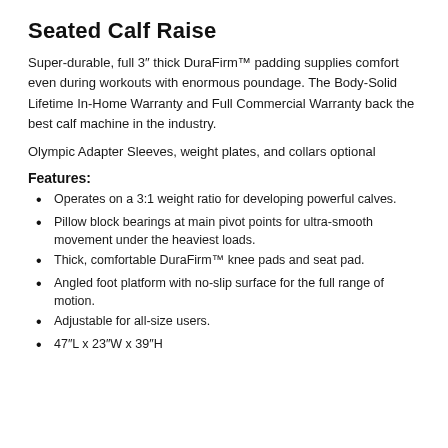Seated Calf Raise
Super-durable, full 3″ thick DuraFirm™ padding supplies comfort even during workouts with enormous poundage. The Body-Solid Lifetime In-Home Warranty and Full Commercial Warranty back the best calf machine in the industry.
Olympic Adapter Sleeves, weight plates, and collars optional
Features:
Operates on a 3:1 weight ratio for developing powerful calves.
Pillow block bearings at main pivot points for ultra-smooth movement under the heaviest loads.
Thick, comfortable DuraFirm™ knee pads and seat pad.
Angled foot platform with no-slip surface for the full range of motion.
Adjustable for all-size users.
47″L x 23″W x 39″H